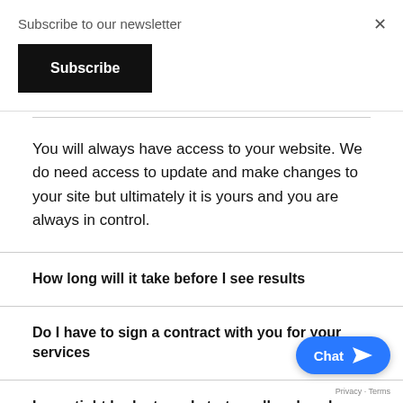Subscribe to our newsletter
Subscribe
You will always have access to your website. We do need access to update and make changes to your site but ultimately it is yours and you are always in control.
How long will it take before I see results
Do I have to sign a contract with you for your services
Im on tight budget can I start small and scale up a results
Chat
Privacy · Terms